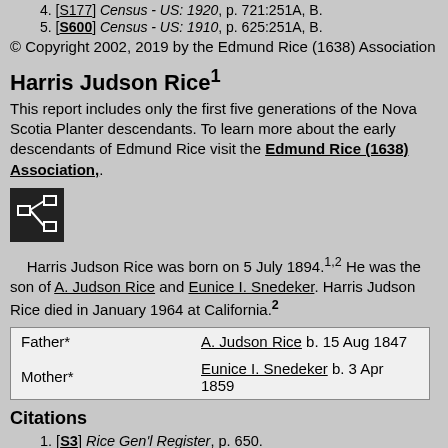4. [S177] Census - US: 1920, p. 721:251A, B.
5. [S600] Census - US: 1910, p. 625:251A, B.
© Copyright 2002, 2019 by the Edmund Rice (1638) Association
Harris Judson Rice1
This report includes only the first five generations of the Nova Scotia Planter descendants. To learn more about the early descendants of Edmund Rice visit the Edmund Rice (1638) Association,.
[Figure (logo): Small dark icon/logo box with a network/tree diagram symbol in white]
Harris Judson Rice was born on 5 July 1894.1,2 He was the son of A. Judson Rice and Eunice I. Snedeker. Harris Judson Rice died in January 1964 at California.2
| Father* | A. Judson Rice  b. 15 Aug 1847 |
| Mother* | Eunice I. Snedeker  b. 3 Apr 1859 |
Citations
1. [S3] Rice Gen'l Register, p. 650.
2. [S45] US Social Security Administration, US SSDI.
© Copyright 2002, 2019 by the Edmund Rice (1638) Association